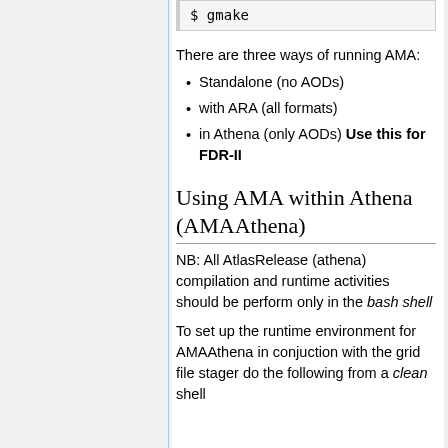$ gmake
There are three ways of running AMA:
Standalone (no AODs)
with ARA (all formats)
in Athena (only AODs) Use this for FDR-II
Using AMA within Athena (AMAAthena)
NB: All AtlasRelease (athena) compilation and runtime activities should be perform only in the bash shell
To set up the runtime environment for AMAAthena in conjuction with the grid file stager do the following from a clean shell